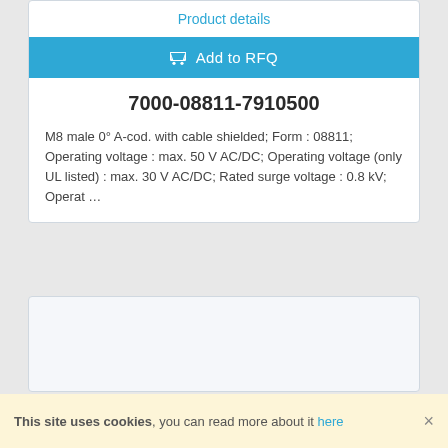Product details
Add to RFQ
7000-08811-7910500
M8 male 0° A-cod. with cable shielded; Form : 08811; Operating voltage : max. 50 V AC/DC; Operating voltage (only UL listed) : max. 30 V AC/DC; Rated surge voltage : 0.8 kV; Operat …
[Figure (photo): Product image area, mostly blank/light gray]
This site uses cookies, you can read more about it here